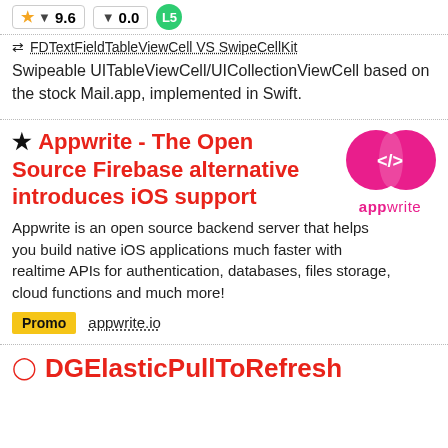★ 9.6  ↓ 0.0  L5
⇄ FDTextFieldTableViewCell VS SwipeCellKit
Swipeable UITableViewCell/UICollectionViewCell based on the stock Mail.app, implemented in Swift.
★ Appwrite - The Open Source Firebase alternative introduces iOS support
[Figure (logo): Appwrite logo — two overlapping circles in pink/red with </> code symbol inside, text 'appwrite' below]
Appwrite is an open source backend server that helps you build native iOS applications much faster with realtime APIs for authentication, databases, files storage, cloud functions and much more!
Promo   appwrite.io
DGElasticPullToRefresh